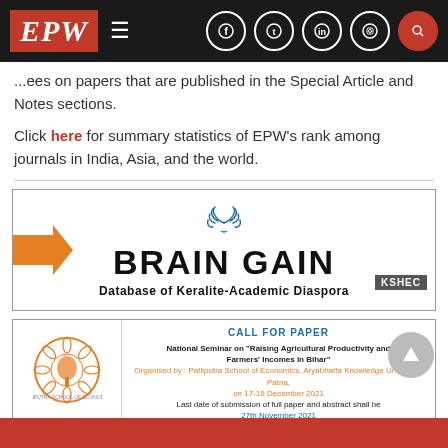EPW — navigation bar with logo, hamburger menu, and social icons
...ees on papers that are published in the Special Article and Notes sections.
Click here for summary statistics of EPW's rank among journals in India, Asia, and the world.
[Figure (other): Brain Gain — Database of Keralite-Academic Diaspora advertisement banner with KSHEC badge]
[Figure (other): Call for Paper — National Seminar on Raising Agricultural Productivity and Farmers' Incomes in Bihar, organised by Patliputra School of Economics, Aryabhatta Knowledge University, Patna, on 17-18 December 2021. Last date of submission of full paper and abstract shall be 27th November 2021.]
EPW (partial red footer bar)